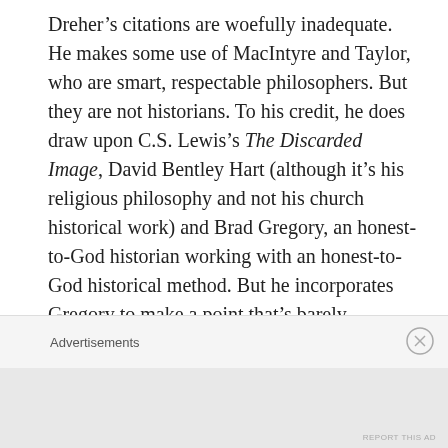Dreher's citations are woefully inadequate. He makes some use of MacIntyre and Taylor, who are smart, respectable philosophers. But they are not historians. To his credit, he does draw upon C.S. Lewis's The Discarded Image, David Bentley Hart (although it's his religious philosophy and not his church historical work) and Brad Gregory, an honest-to-God historian working with an honest-to-God historical method. But he incorporates Gregory to make a point that's barely substantive, that different ideas about Christianity led to different ways of living out Christianity. Did we really need the authority of an historian to make a point that is already so blindingly obvious? Moreover, all of these citations come in the first two parts of his history: the Middle
Advertisements